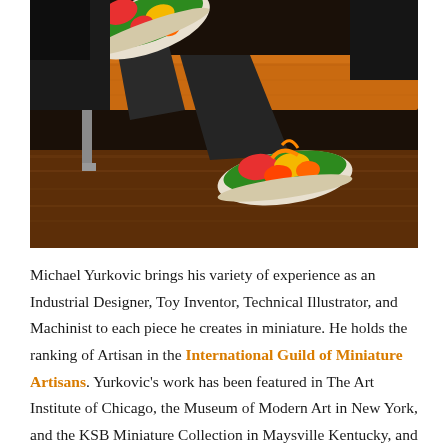[Figure (photo): Photo of a person seated on an orange bench, legs crossed, wearing colorful embroidered/printed slip-on shoes with green, red, and yellow patterns. Dark wood floor visible below. Background dark.]
Michael Yurkovic brings his variety of experience as an Industrial Designer, Toy Inventor, Technical Illustrator, and Machinist to each piece he creates in miniature. He holds the ranking of Artisan in the International Guild of Miniature Artisans. Yurkovic's work has been featured in The Art Institute of Chicago, the Museum of Modern Art in New York, and the KSB Miniature Collection in Maysville Kentucky, and he regularly